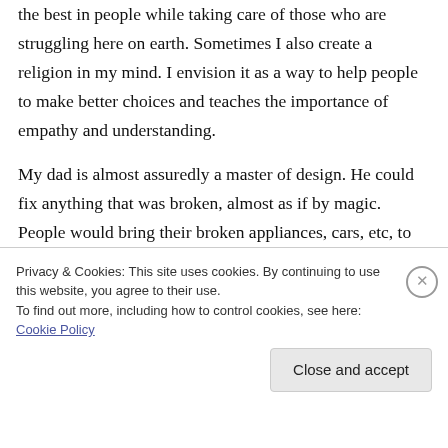the best in people while taking care of those who are struggling here on earth. Sometimes I also create a religion in my mind. I envision it as a way to help people to make better choices and teaches the importance of empathy and understanding.
My dad is almost assuredly a master of design. He could fix anything that was broken, almost as if by magic. People would bring their broken appliances, cars, etc, to my dad and he could
Privacy & Cookies: This site uses cookies. By continuing to use this website, you agree to their use.
To find out more, including how to control cookies, see here: Cookie Policy